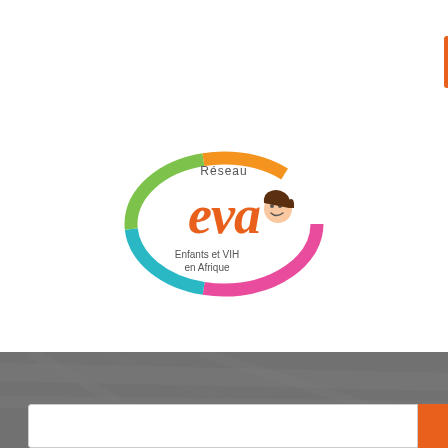[Figure (screenshot): Orange 'Se connecter' login button]
[Figure (logo): Réseau EVA logo — Enfants et VIH en Afrique, colorful oval with child illustration]
[Figure (screenshot): Hamburger menu button (three horizontal lines on grey background)]
[Figure (screenshot): Search input box with orange Search button]
ADHERENCE TO READY-